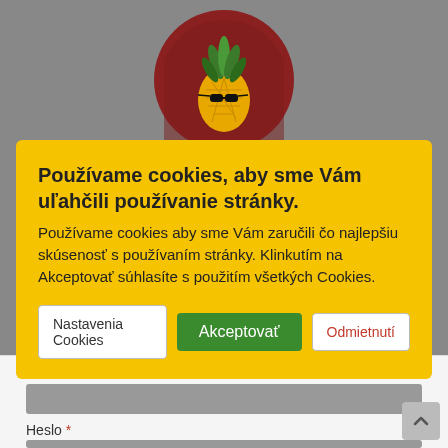[Figure (logo): Round dark red circle with a cartoon pineapple wearing sunglasses – website logo]
Používame cookies, aby sme Vám uľahčili používanie stránky.
Používame cookies aby sme Vám zaručili čo najlepšiu skúsenosť s používaním stránky. Klinkutím na Akceptovať súhlasíte s použitím všetkých Cookies.
Nastavenia Cookies
Akceptovať
Odmietnutí
Používateľské meno alebo e-mailová adresa *
Heslo *